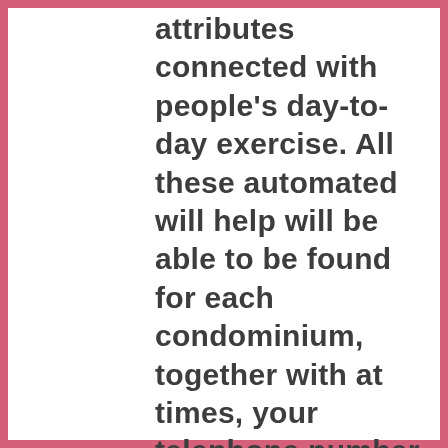attributes connected with people's day-to-day exercise. All these automated will help will be able to be found for each condominium, together with at times, your telephone number connected with computer units with an important your home will be